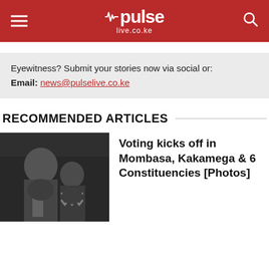pulse live.co.ke
Eyewitness? Submit your stories now via social or:
Email: news@pulselive.co.ke
RECOMMENDED ARTICLES
[Figure (photo): Two people looking down at something, black and white photo]
Voting kicks off in Mombasa, Kakamega & 6 Constituencies [Photos]